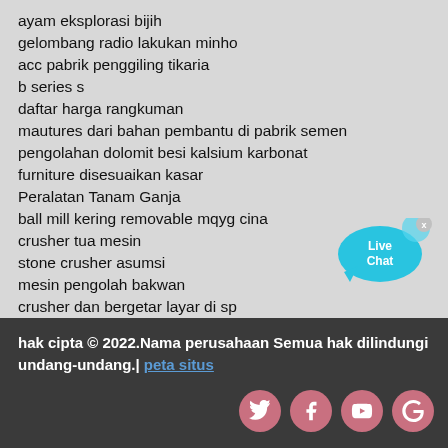ayam eksplorasi bijih
gelombang radio lakukan minho
acc pabrik penggiling tikaria
b series s
daftar harga rangkuman
mautures dari bahan pembantu di pabrik semen
pengolahan dolomit besi kalsium karbonat
furniture disesuaikan kasar
Peralatan Tanam Ganja
ball mill kering removable mqyg cina
crusher tua mesin
stone crusher asumsi
mesin pengolah bakwan
crusher dan bergetar layar di sp
[Figure (other): Live Chat bubble widget with close button]
hak cipta © 2022.Nama perusahaan Semua hak dilindungi undang-undang.| peta situs
[Figure (other): Social media icons: Twitter, Facebook, YouTube, Google+]